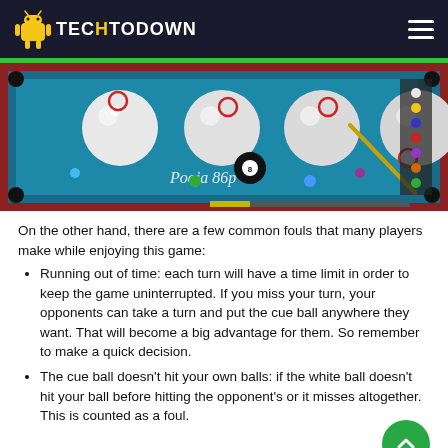TECHTODOWN
[Figure (screenshot): Screenshot of 8 Ball Pool mobile game showing billiards table with white balls and cue ball, username 'Pooja 86p' visible]
On the other hand, there are a few common fouls that many players make while enjoying this game:
Running out of time: each turn will have a time limit in order to keep the game uninterrupted. If you miss your turn, your opponents can take a turn and put the cue ball anywhere they want. That will become a big advantage for them. So remember to make a quick decision.
The cue ball doesn't hit your own balls: if the white ball doesn't hit your ball before hitting the opponent's or it misses altogether. This is counted as a foul.